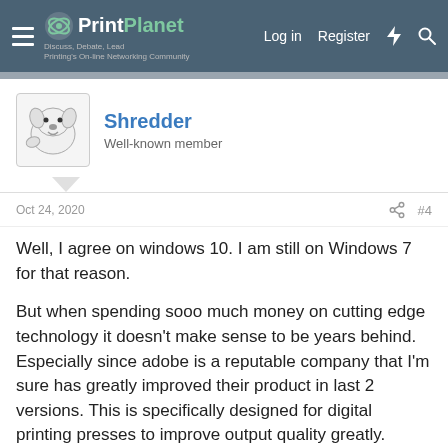PrintPlanet — Log in | Register
Shredder
Well-known member
Oct 24, 2020  #4
Well, I agree on windows 10. I am still on Windows 7 for that reason.

But when spending sooo much money on cutting edge technology it doesn't make sense to be years behind. Especially since adobe is a reputable company that I'm sure has greatly improved their product in last 2 versions. This is specifically designed for digital printing presses to improve output quality greatly.
Steve0
Well-known member